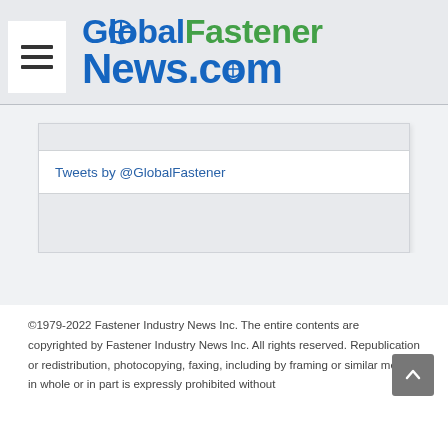GlobalFastenerNews.com
Tweets by @GlobalFastener
©1979-2022 Fastener Industry News Inc. The entire contents are copyrighted by Fastener Industry News Inc. All rights reserved. Republication or redistribution, photocopying, faxing, including by framing or similar means, in whole or in part is expressly prohibited without